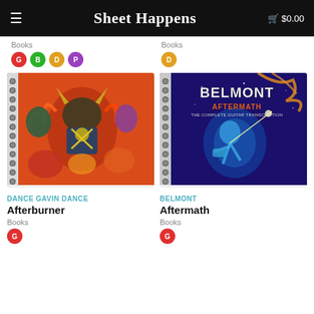Sheet Happens  $0.00
Books
G B D P badges
Books
D badge
[Figure (photo): Spiral-bound book cover for Dance Gavin Dance Afterburner, showing colorful cartoon characters including a minotaur in sci-fi armor surrounded by other fantastical creatures in orange and red tones]
[Figure (photo): Spiral-bound book cover for Belmont Aftermath, showing the word BELMONT in large white letters with AFTERMATH in orange below, and a glowing blue cosmic figure playing guitar against a space background]
DANCE GAVIN DANCE
Afterburner
Books
G badge
BELMONT
Aftermath
Books
G badge